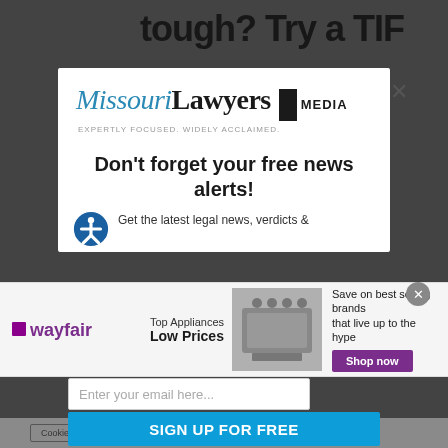tough? Try a TIF
[Figure (logo): Missouri Lawyers Media logo with tagline EXPERTLY FOCUSED. WIDELY ACCLAIMED.]
Don't forget your free news alerts!
Get the latest legal news, verdicts &
[Figure (other): Wayfair advertisement banner - Top Appliances Low Prices, Save on best selling brands that live up to the hype, Shop now button]
Enter your email here...
SIGN UP FOR FREE
Cookie Settings
READ MORE